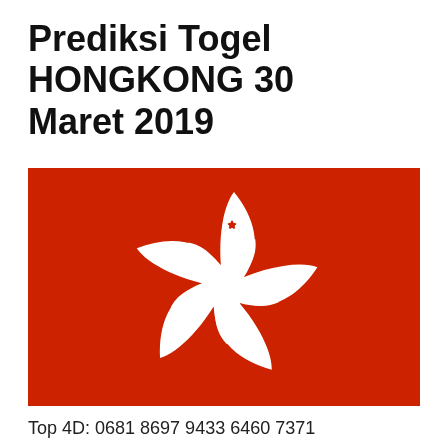Prediksi Togel HONGKONG 30 Maret 2019
[Figure (illustration): Hong Kong flag: red background with white bauhinia flower (5 petals each with a red star)]
Top 4D: 0681 8697 9433 6460 7371